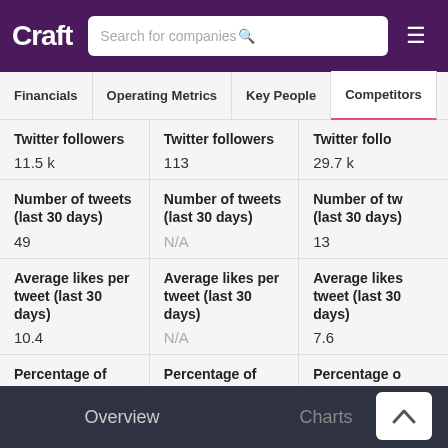Craft | Search for companies
|  |  |  |
| --- | --- | --- |
| Twitter followers
11.5 k | Twitter followers
113 | Twitter followers
29.7 k |
| Number of tweets (last 30 days)
49 | Number of tweets (last 30 days)
N/A | Number of tweets (last 30 days)
13 |
| Average likes per tweet (last 30 days)
10.4 | Average likes per tweet (last 30 days)
N/A | Average likes per tweet (last 30 days)
7.6 |
| Percentage of tweets with | Percentage of tweets with | Percentage of tweets with |
Overview | Charts